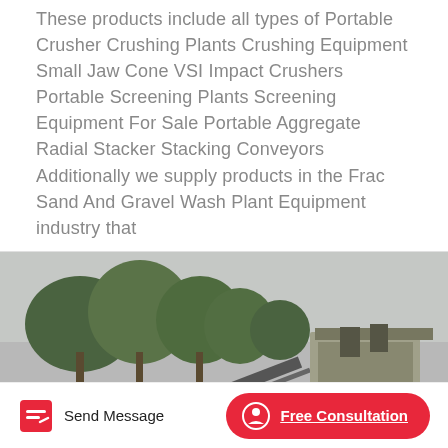These products include all types of Portable Crusher Crushing Plants Crushing Equipment Small Jaw Cone VSI Impact Crushers Portable Screening Plants Screening Equipment For Sale Portable Aggregate Radial Stacker Stacking Conveyors Additionally we supply products in the Frac Sand And Gravel Wash Plant Equipment industry that
[Figure (photo): Outdoor industrial crushing/screening plant with conveyor belts, large screening machine structure, dust clouds, trees in background, workers visible in foreground on dusty terrain.]
Send Message
Free Consultation